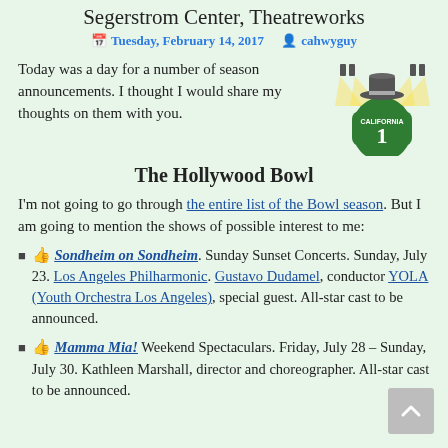Segerstrom Center, Theatreworks
Tuesday, February 14, 2017   cahwyguy
Today was a day for a number of season announcements. I thought I would share my thoughts on them with you.
The Hollywood Bowl
I'm not going to go through the entire list of the Bowl season. But I am going to mention the shows of possible interest to me:
👍 Sondheim on Sondheim. Sunday Sunset Concerts. Sunday, July 23. Los Angeles Philharmonic. Gustavo Dudamel, conductor YOLA (Youth Orchestra Los Angeles), special guest. All-star cast to be announced.
👍 Mamma Mia! Weekend Spectaculars. Friday, July 28 – Sunday, July 30. Kathleen Marshall, director and choreographer. All-star cast to be announced.